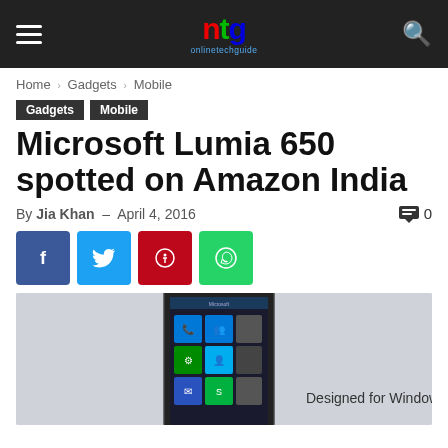ntg onlinetechguide — site navigation header
Home › Gadgets › Mobile
Gadgets   Mobile
Microsoft Lumia 650 spotted on Amazon India
By Jia Khan – April 4, 2016   0
[Figure (screenshot): Microsoft Lumia 650 smartphone with Windows 10 start screen tiles visible. Text overlay reads: Designed for Windows 10. Light grey background.]